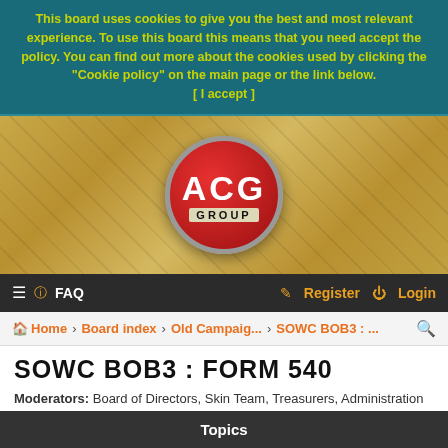This board uses cookies to give you the best and most relevant experience. To use this board this means that you need accept the policy. You can find out more about the cookies used by clicking the "Cookie policy" on the main page or the link below. [ I accept ]
[Figure (logo): ACG Group logo - red circle with white ACG letters and GROUP text below, on a gold/tan decorative background]
≡ ? FAQ    Register  Login
Home › Board index › Old Campaig... › SOWC BOB3 : ...
SOWC BOB3 : FORM 540
Moderators: Board of Directors, Skin Team, Treasurers, Administration Staff
NEW TOPIC  Search this forum...  21 topics • Page 1 of 1
Topics